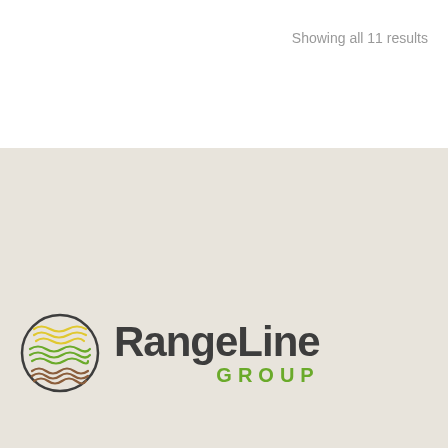Showing all 11 results
[Figure (logo): RangeLine Group logo — circular emblem with layered wave lines in yellow, green, and brown colors, beside bold dark gray text 'RangeLine' and green uppercase 'GROUP']
Main Office - 545 Basket Road
Webster, NY 14580
NY: 1-585-270-8047
SALES@RANGELINEGROUP.COM